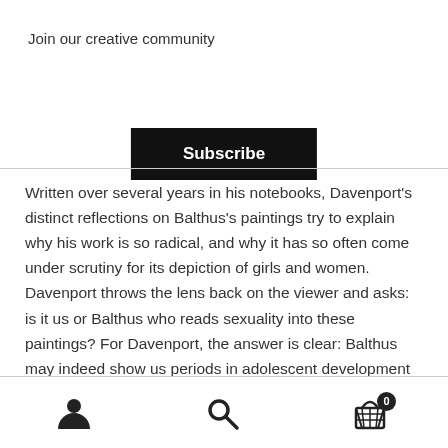Join our creative community
Subscribe
Written over several years in his notebooks, Davenport's distinct reflections on Balthus's paintings try to explain why his work is so radical, and why it has so often come under scrutiny for its depiction of girls and women. Davenport throws the lens back on the viewer and asks: is it us or Balthus who reads sexuality into these paintings? For Davenport, the answer is clear: Balthus may indeed show us periods in adolescent development that are uncomfortable to view, but the eroticization